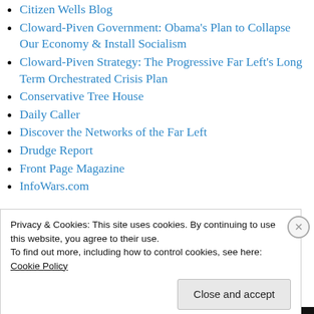Citizen Wells Blog
Cloward-Piven Government: Obama's Plan to Collapse Our Economy & Install Socialism
Cloward-Piven Strategy: The Progressive Far Left's Long Term Orchestrated Crisis Plan
Conservative Tree House
Daily Caller
Discover the Networks of the Far Left
Drudge Report
Front Page Magazine
InfoWars.com
Privacy & Cookies: This site uses cookies. By continuing to use this website, you agree to their use.
To find out more, including how to control cookies, see here:
Cookie Policy
Close and accept